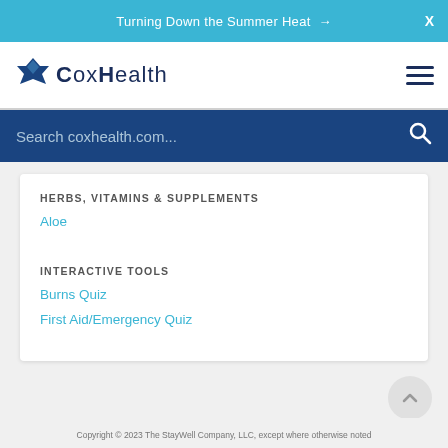Turning Down the Summer Heat →
[Figure (logo): CoxHealth logo with blue star/diamond shape and text COXHEALTH]
Search coxhealth.com...
HERBS, VITAMINS & SUPPLEMENTS
Aloe
INTERACTIVE TOOLS
Burns Quiz
First Aid/Emergency Quiz
Copyright © 2023 The StayWell Company, LLC, except where otherwise noted